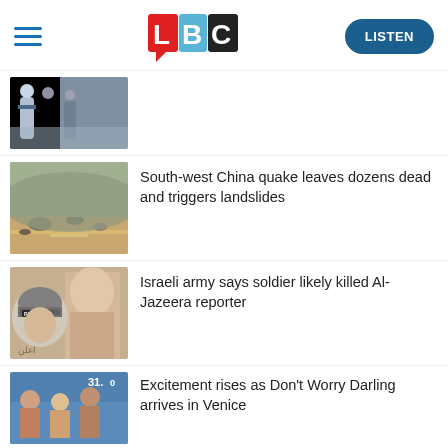LBC — LISTEN
[Figure (photo): News thumbnail 1: People standing, journalist vest visible]
[Figure (photo): News thumbnail 2: Rocky road after earthquake, South-west China]
South-west China quake leaves dozens dead and triggers landslides
[Figure (photo): News thumbnail 3: Illustration of Al-Jazeera reporter Shireen Abu Akleh with PRESS helmet]
Israeli army says soldier likely killed Al-Jazeera reporter
[Figure (photo): News thumbnail 4: People at Venice event, 31.0 overlay text]
Excitement rises as Don't Worry Darling arrives in Venice